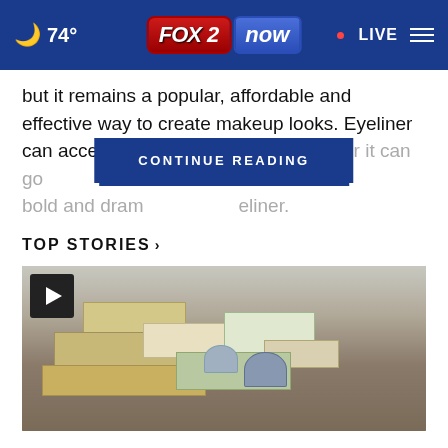74° FOX 2 now LIVE
but it remains a popular, affordable and effective way to create makeup looks. Eyeliner can accentuate your eyes with simpl... ir, or it can go bold and dram... eliner.
CONTINUE READING
TOP STORIES ›
[Figure (photo): Video thumbnail showing boxes and items on a table, with a play button in the top left corner.]